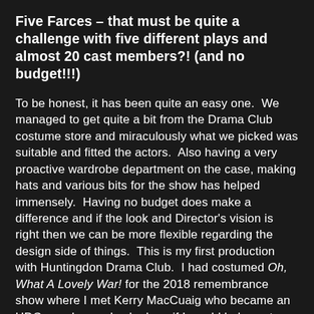Five Farces – that must be quite a challenge with five different plays and almost 20 cast members?! (and no budget!!!)
To be honest, it has been quite an easy one. We managed to get quite a bit from the Drama Club costume store and miraculously what we picked was suitable and fitted the actors. Also having a very proactive wardrobe department on the case, making hats and various bits for the show has helped immensely. Having no budget does make a difference and if the look and Director's vision is right then we can be more flexible regarding the design side of things. This is my first production with Huntingdon Drama Club. I had costumed Oh, What A Lovely War! for the 2018 remembrance show where I met Kerry MacCuaig who became an HDC member and asked me if I would help costume Five Farces. so here I am.